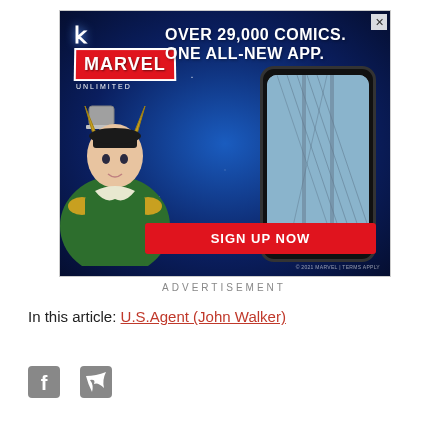[Figure (illustration): Marvel Unlimited advertisement banner featuring Loki character, a smartphone, and Thor's hammer against a starfield background. Text reads 'OVER 29,000 COMICS. ONE ALL-NEW APP.' with a 'SIGN UP NOW' button.]
ADVERTISEMENT
In this article: U.S.Agent (John Walker)
[Figure (illustration): Facebook and Twitter social media icons]